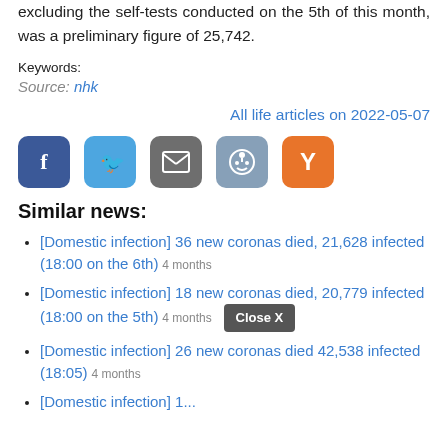excluding the self-tests conducted on the 5th of this month, was a preliminary figure of 25,742.
Keywords:
Source: nhk
All life articles on 2022-05-07
[Figure (other): Social share buttons: Facebook (blue), Twitter (light blue), Email (gray), Reddit (light blue-gray), Y Combinator (orange)]
Similar news:
[Domestic infection] 36 new coronas died, 21,628 infected (18:00 on the 6th) 4 months
[Domestic infection] 18 new coronas died, 20,779 infected (18:00 on the 5th) 4 months
[Domestic infection] 26 new coronas died 42,538 infected (18:05) 4 months
[Domestic infection] 1...